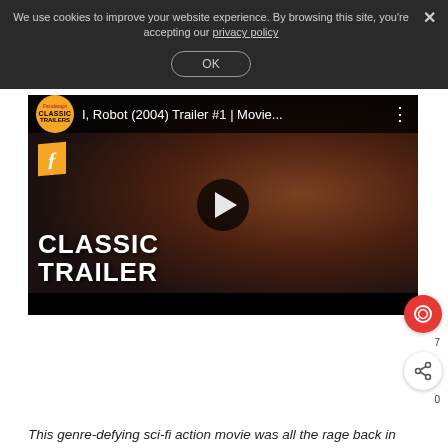We use cookies to improve your website experience. By browsing this site, you're accepting our privacy policy
[Figure (screenshot): YouTube-style video thumbnail for 'I, Robot (2004) Trailer #1 | Movie...' showing a close-up of Will Smith's face with a gun, overlaid with 'CLASSIC TRAILER' text in white bold font, a Classic Trailers logo (yellow circle), a play button, and a Fandango F logo in orange.]
This genre-defying sci-fi action movie was all the rage back in